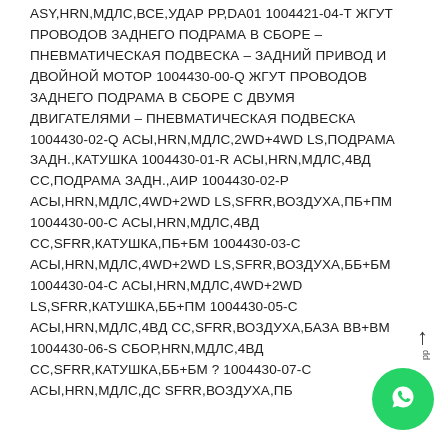ASY,HRN,МДЛС,ВСЕ,УДАР РР,DA01 1004421-04-Т ЖГУТ ПРОВОДОВ ЗАДНЕГО ПОДРАМА В СБОРЕ – ПНЕВМАТИЧЕСКАЯ ПОДВЕСКА – ЗАДНИЙ ПРИВОД И ДВОЙНОЙ МОТОР 1004430-00-Q ЖГУТ ПРОВОДОВ ЗАДНЕГО ПОДРАМА В СБОРЕ С ДВУМЯ ДВИГАТЕЛЯМИ – ПНЕВМАТИЧЕСКАЯ ПОДВЕСКА 1004430-02-Q АСЫ,HRN,МДЛС,2WD+4WD LS,ПОДРАМА ЗАДН.,КАТУШКА 1004430-01-R АСЫ,HRN,МДЛС,4ВД СС,ПОДРАМА ЗАДН.,АИР 1004430-02-P АСЫ,HRN,МДЛС,4WD+2WD LS,SFRR,ВОЗДУХА,ПБ+ПМ 1004430-00-C АСЫ,HRN,МДЛС,4ВД СС,SFRR,КАТУШКА,ПБ+БМ 1004430-03-C АСЫ,HRN,МДЛС,4WD+2WD LS,SFRR,ВОЗДУХА,ББ+БМ 1004430-04-C АСЫ,HRN,МДЛС,4WD+2WD LS,SFRR,КАТУШКА,ББ+ПМ 1004430-05-C АСЫ,HRN,МДЛС,4ВД СС,SFRR,ВОЗДУХА,БАЗА ВВ+ВМ 1004430-06-S СБОР,HRN,МДЛС,4ВД СС,SFRR,КАТУШКА,ББ+БМ ? 1004430-07-С АСЫ,HRN,МДЛС,ДС SFRR,ВОЗДУХА,ПБ